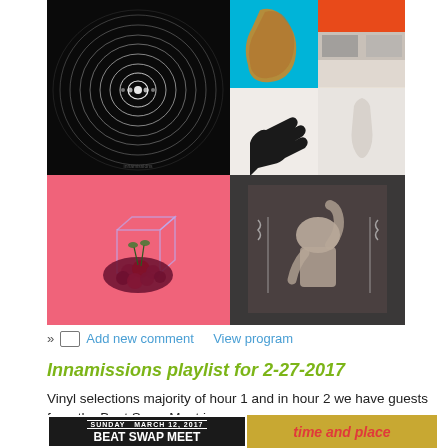[Figure (photo): Grid of four album art images: top-left dark with concentric circles, top-right split into colored sub-panels with figure and hand silhouette, bottom-left pink background with dark berry/cherry cube sculpture, bottom-right charcoal with monochrome figure raising hand]
» Add new comment   View program
Innamissions playlist for 2-27-2017
Vinyl selections majority of hour 1 and in hour 2 we have guests from the Beat Swap Meet jo
[Figure (photo): Two images side by side: left is a black and white flyer reading SUNDAY MARCH 12, 2017 / BEAT SWAP MEET; right shows 'time and place' text in red on a textured golden background]